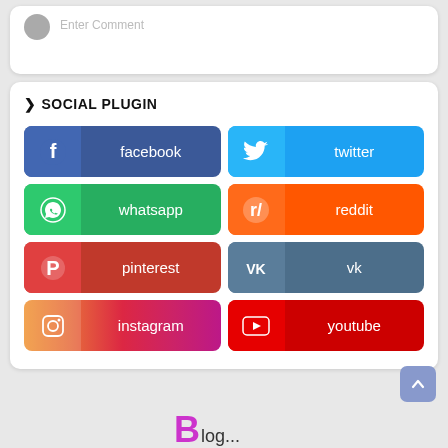Enter Comment
> SOCIAL PLUGIN
[Figure (infographic): Social media plugin buttons grid: facebook, twitter, whatsapp, reddit, pinterest, vk, instagram, youtube]
[Figure (logo): Website logo at bottom]